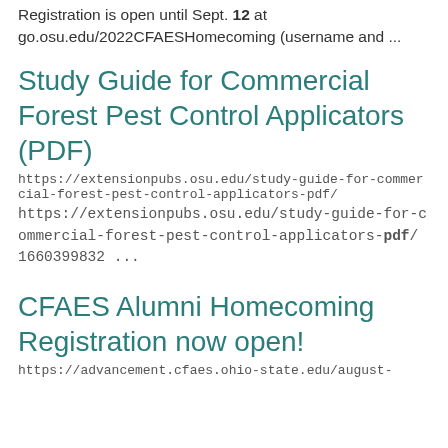Registration is open until Sept. 12 at go.osu.edu/2022CFAESHomecoming (username and ...
Study Guide for Commercial Forest Pest Control Applicators (PDF)
https://extensionpubs.osu.edu/study-guide-for-commercial-forest-pest-control-applicators-pdf/
https://extensionpubs.osu.edu/study-guide-for-commercial-forest-pest-control-applicators-pdf/ 1660399832 ...
CFAES Alumni Homecoming Registration now open!
https://advancement.cfaes.ohio-state.edu/august-